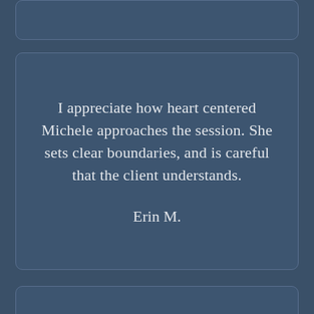I appreciate how heart centered Michele approaches the session. She sets clear boundaries, and is careful that the client understands.
Erin M.
I appreciate how heart centered Michele approaches the session. She sets clear boundaries, and is careful that the client